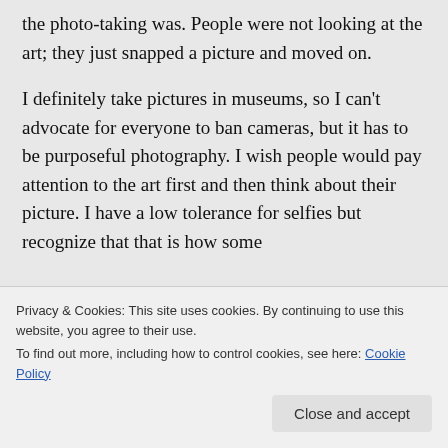the photo-taking was. People were not looking at the art; they just snapped a picture and moved on.
I definitely take pictures in museums, so I can't advocate for everyone to ban cameras, but it has to be purposeful photography. I wish people would pay attention to the art first and then think about their picture. I have a low tolerance for selfies but recognize that that is how some
Privacy & Cookies: This site uses cookies. By continuing to use this website, you agree to their use.
To find out more, including how to control cookies, see here: Cookie Policy
Close and accept
interfering with the experience of people